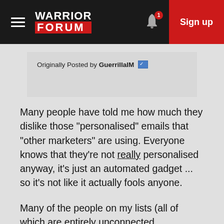Warrior Forum — Sign up
Originally Posted by GuerrillaIM
Many people have told me how much they dislike those "personalised" emails that "other marketers" are using. Everyone knows that they're not really personalised anyway, it's just an automated gadget ... so it's not like it actually fools anyone.
Many of the people on my lists (all of which are entirely unconnected